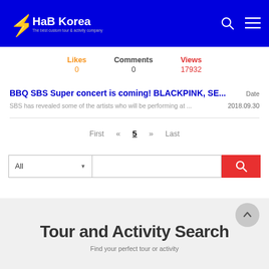HaB Korea - The best custom tour & activity company
Likes 0 | Comments 0 | Views 17932
BBQ SBS Super concert is coming! BLACKPINK, SE...
SBS has revealed some of the artists who will be performing at ... Date 2018.09.30
First « 5 » Last
[Figure (screenshot): Search bar with All dropdown, text input, and red search button]
Tour and Activity Search
Find your perfect tour or activity